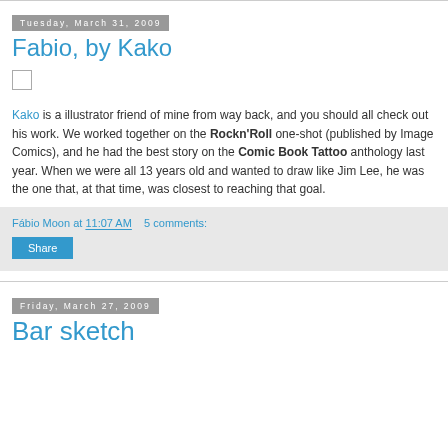Tuesday, March 31, 2009
Fabio, by Kako
[Figure (other): Small empty checkbox/square placeholder image]
Kako is a illustrator friend of mine from way back, and you should all check out his work. We worked together on the Rockn'Roll one-shot (published by Image Comics), and he had the best story on the Comic Book Tattoo anthology last year. When we were all 13 years old and wanted to draw like Jim Lee, he was the one that, at that time, was closest to reaching that goal.
Fábio Moon at 11:07 AM   5 comments:
Share
Friday, March 27, 2009
Bar sketch